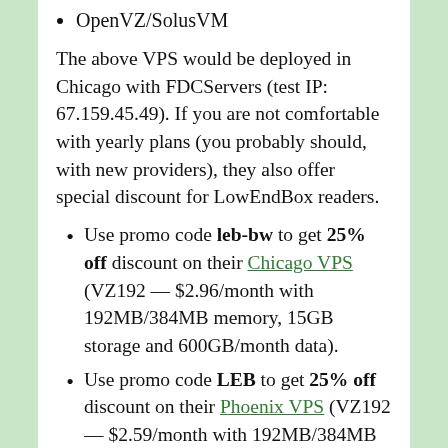OpenVZ/SolusVM
The above VPS would be deployed in Chicago with FDCServers (test IP: 67.159.45.49). If you are not comfortable with yearly plans (you probably should, with new providers), they also offer special discount for LowEndBox readers.
Use promo code leb-bw to get 25% off discount on their Chicago VPS (VZ192 — $2.96/month with 192MB/384MB memory, 15GB storage and 600GB/month data).
Use promo code LEB to get 25% off discount on their Phoenix VPS (VZ192 — $2.59/month with 192MB/384MB memory, 15GB storage and 300GB/month data, but currently sold out)
They also got a new design. Payment in either PayPal or Alipay (as George is based in China).